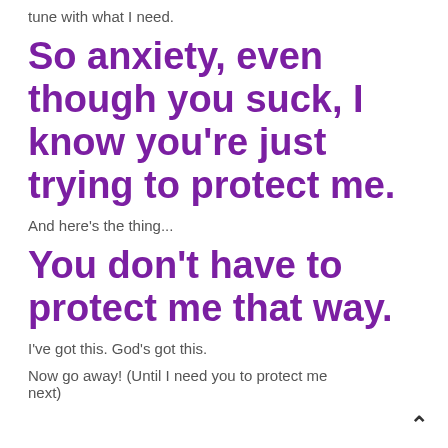tune with what I need.
So anxiety, even though you suck, I know you're just trying to protect me.
And here's the thing...
You don't have to protect me that way.
I've got this. God's got this.
Now go away! (Until I need you to protect me next)